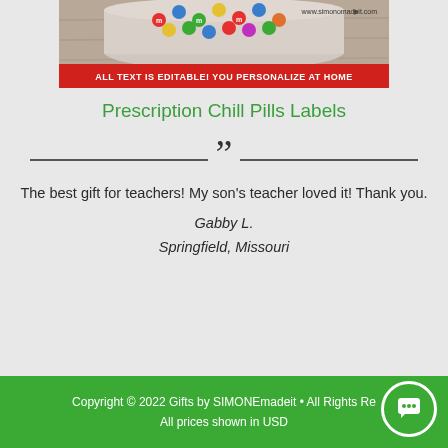[Figure (photo): Product image of Prescription Chill Pills Labels with M&M candy jar on wooden surface, with red banner overlay reading 'ALL TEXT IS EDITABLE! YOU PERSONALIZE AT HOME' and website www.simonomadeit.com]
Prescription Chill Pills Labels
The best gift for teachers! My son's teacher loved it! Thank you.
Gabby L.
Springfield, Missouri
Copyright © 2022 Gifts by SIMONEmadeit • All Rights Re
All prices shown in USD